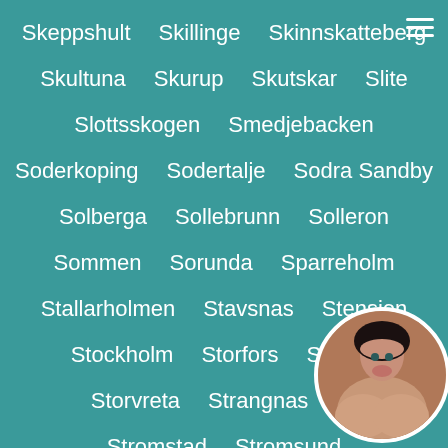Skeppshult
Skillinge
Skinnskatteberg
Skultuna
Skurup
Skutskar
Slite
Slottsskogen
Smedjebacken
Soderkoping
Sodertalje
Sodra Sandby
Solberga
Sollebrunn
Solleron
Sommen
Sorunda
Sparreholm
Stallarholmen
Stavsnas
Stensjon
Stockholm
Storfors
Storum
Storvreta
Strangnas
Stromstad
Stromsund
Sundborn
Sunno
Surahammar
[Figure (photo): Circular avatar photo of a dark-haired woman, partially obscured, in bottom right corner]